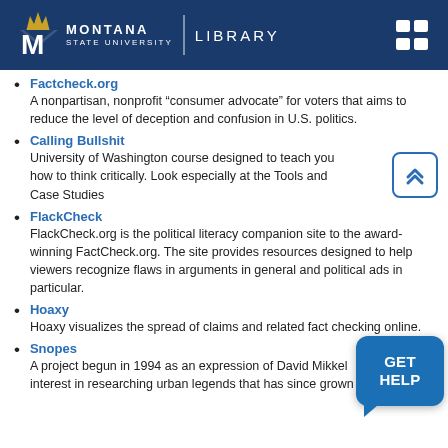Montana State University Library
Factcheck.org — A nonpartisan, nonprofit “consumer advocate” for voters that aims to reduce the level of deception and confusion in U.S. politics.
Calling Bullshit — University of Washington course designed to teach you how to think critically. Look especially at the Tools and Case Studies
FlackCheck — FlackCheck.org is the political literacy companion site to the award-winning FactCheck.org. The site provides resources designed to help viewers recognize flaws in arguments in general and political ads in particular.
Hoaxy — Hoaxy visualizes the spread of claims and related fact checking online.
Snopes — A project begun in 1994 as an expression of David Mikkel interest in researching urban legends that has since grown into